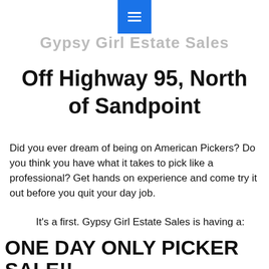Gypsy Girl Estate Sales
Off Highway 95, North of Sandpoint
Did you ever dream of being on American Pickers? Do you think you have what it takes to pick like a professional? Get hands on experience and come try it out before you quit your day job.
It's a first. Gypsy Girl Estate Sales is having a:
ONE DAY ONLY PICKER SALE!!
Thursday, June 30